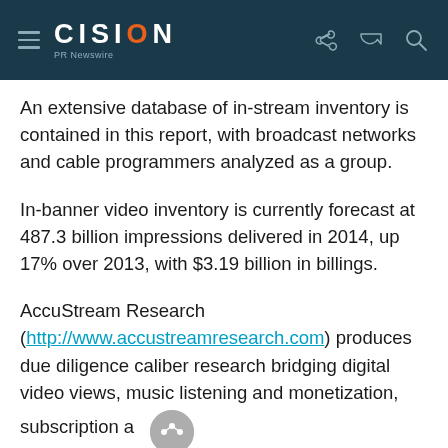CISION PR Newswire
An extensive database of in-stream inventory is contained in this report, with broadcast networks and cable programmers analyzed as a group.
In-banner video inventory is currently forecast at 487.3 billion impressions delivered in 2014, up 17% over 2013, with $3.19 billion in billings.
AccuStream Research (http://www.accustreamresearch.com) produces due diligence caliber research bridging digital video views, music listening and monetization, subscription and download media storefronts, video workflow and